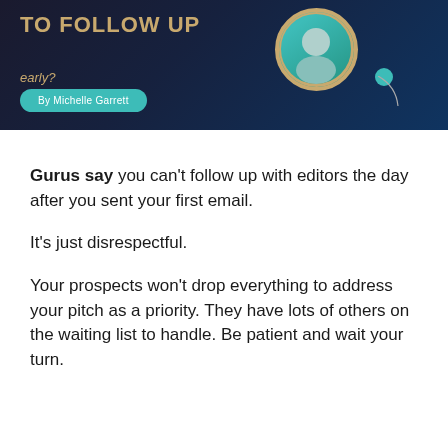[Figure (illustration): Dark-themed banner with text 'TO FOLLOW UP' in gold/tan, subtitle 'early?' in italic, author button 'By Michelle Garrett' in teal, and a circular portrait photo of a woman on the right side with a teal decorative dot.]
Gurus say you can't follow up with editors the day after you sent your first email.
It's just disrespectful.
Your prospects won't drop everything to address your pitch as a priority. They have lots of others on the waiting list to handle. Be patient and wait your turn.